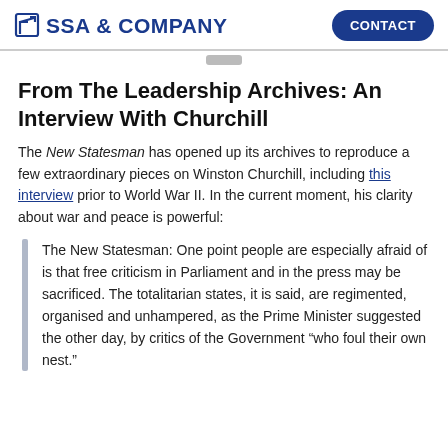SSA & COMPANY | CONTACT
From The Leadership Archives: An Interview With Churchill
The New Statesman has opened up its archives to reproduce a few extraordinary pieces on Winston Churchill, including this interview prior to World War II. In the current moment, his clarity about war and peace is powerful:
The New Statesman: One point people are especially afraid of is that free criticism in Parliament and in the press may be sacrificed. The totalitarian states, it is said, are regimented, organised and unhampered, as the Prime Minister suggested the other day, by critics of the Government “who foul their own nest.”